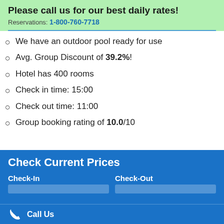Please call us for our best daily rates!
Reservations: 1-800-760-7718
We have an outdoor pool ready for use
Avg. Group Discount of 39.2%!
Hotel has 400 rooms
Check in time: 15:00
Check out time: 11:00
Group booking rating of 10.0/10
Check Current Prices
Check-In / Check-Out
Call Us